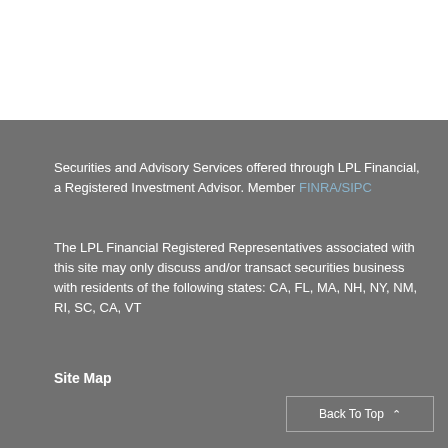Securities and Advisory Services offered through LPL Financial, a Registered Investment Advisor. Member FINRA/SIPC
The LPL Financial Registered Representatives associated with this site may only discuss and/or transact securities business with residents of the following states: CA, FL, MA, NH, NY, NM, RI, SC, CA, VT
Site Map
Back To Top